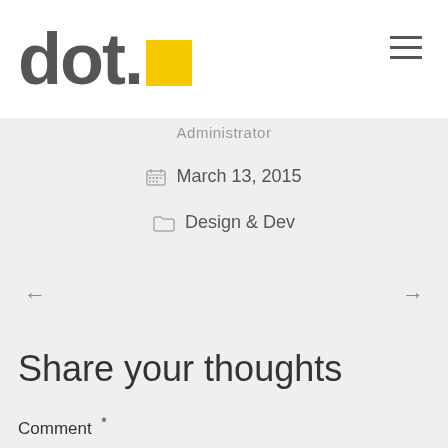[Figure (logo): dot. logo with large grey text 'dot.' followed by a yellow square, and a hamburger menu icon in the top right]
Administrator
March 13, 2015
Design & Dev
← →
Share your thoughts
Comment *